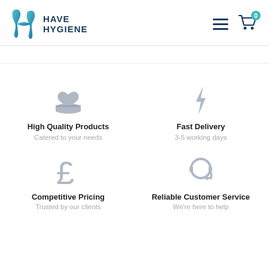[Figure (logo): Have Hygiene logo with stylized H icon in teal/blue and bold dark blue text reading HAVE HYGIENE]
[Figure (infographic): Four feature icons: heart-on-hand (High Quality Products), lightning bolt (Fast Delivery), pound sign (Competitive Pricing), headset (Reliable Customer Service)]
High Quality Products
Catered to your needs
Fast Delivery
3-5 working days
Competitive Pricing
Trusted by our clients
Reliable Customer Service
We're here to help